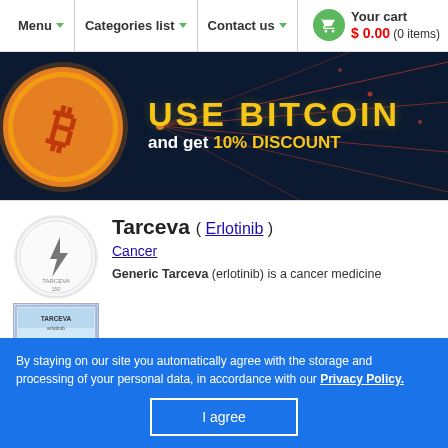Menu ▼  |  Categories list ▼  |  Contact us ▼  |  Your cart $0.00 (0 items)
[Figure (infographic): Bitcoin promotional banner with gold bitcoin coin on dark navy background with orange network lines. Text: 'USE BITCOIN and get 10% DISCOUNT']
[Figure (photo): Tarceva pill (round white tablet with lightning bolt logo, labeled TARCEVA 150) and blue medicine box]
Tarceva ( Erlotinib )
Cancer
Generic Tarceva (erlotinib) is a cancer medicine
By staying on our site you automatically agree with the storage and processing of your personal data, in accordance with our Privacy Policy.
I agree